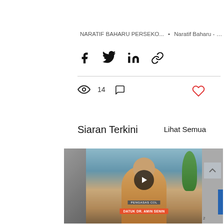NARATIF BAHARU PERSEKO... • Naratif Baharu - ...
[Figure (screenshot): Social media sharing icons: Facebook, Twitter, LinkedIn, Link]
[Figure (infographic): Stats row: 14 views icon, comment icon, heart/like icon]
Siaran Terkini
Lihat Semua
[Figure (photo): Video thumbnail strip showing a man in beige jacket seated on sofa, with play button overlay and name badge reading PENGASAS COL / DATUK DR. AMIN SENIN. Partial thumbnails visible on left and right sides.]